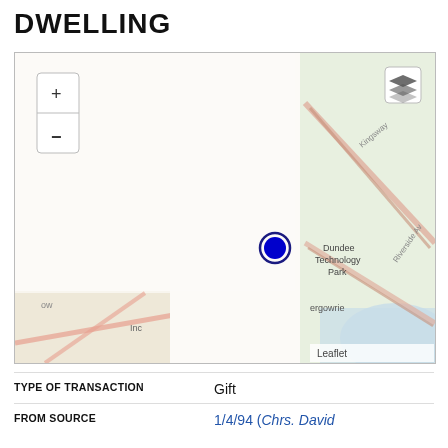DWELLING
[Figure (map): Interactive map showing a location near Dundee Technology Park and Invergowrie, Scotland. A blue circle marker is positioned in the center of the map. The map shows roads, green areas, and a body of water (river/estuary) on the right side. Map controls showing + and - zoom buttons are visible top-left, and a layers icon is visible top-right. A 'Leaflet' attribution is at the bottom-right.]
| TYPE OF TRANSACTION | Gift |
| FROM SOURCE | 1/4/94 (Chrs. David I... 172) |